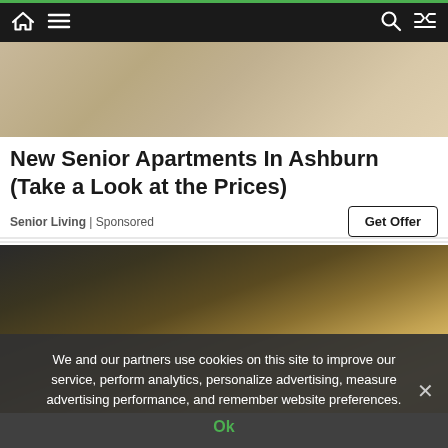Navigation bar with home, menu, search, and shuffle icons
[Figure (photo): Exterior photo of a home's wooden deck/porch area with a doormat and white railing]
New Senior Apartments In Ashburn (Take a Look at the Prices)
Senior Living | Sponsored
[Figure (photo): Close-up photo of a car's sunroof/roof exterior with sunlight and landscape in background]
We and our partners use cookies on this site to improve our service, perform analytics, personalize advertising, measure advertising performance, and remember website preferences.
Ok